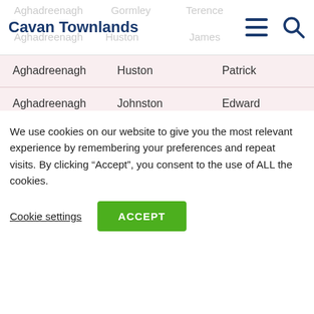Cavan Townlands
| Townland | Surname | Forename |
| --- | --- | --- |
| Aghadreenagh | Huston | Patrick |
| Aghadreenagh | Johnston | Edward |
| Aghadreenagh | Kelly | Peter |
Showing 1 to 10 of 1,660 entries
We use cookies on our website to give you the most relevant experience by remembering your preferences and repeat visits. By clicking “Accept”, you consent to the use of ALL the cookies.
Cookie settings  ACCEPT